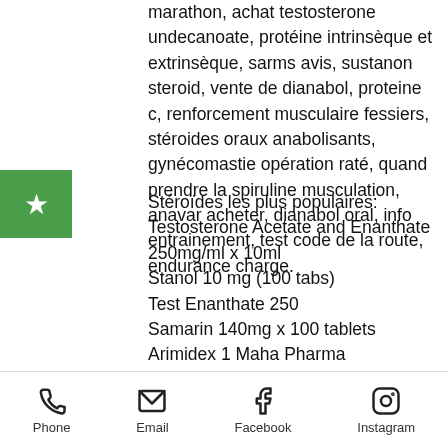marathon, achat testosterone undecanoate, protéine intrinsèque et extrinsèque, sarms avis, sustanon steroid, vente de dianabol, proteine c, renforcement musculaire fessiers, stéroides oraux anabolisants, gynécomastie opération raté, quand prendre la spiruline musculation, anavar acheter, dianabol oral, info entrainement, test code de la route, endurance charge.
Stéroïdes les plus populaires:
Testosterone Acetate and Enanthate 250mg/ml x 10ml
Stanol 10 mg (100 tabs)
Test Enanthate 250
Samarin 140mg x 100 tablets
Arimidex 1 Maha Pharma
Phone | Email | Facebook | Instagram